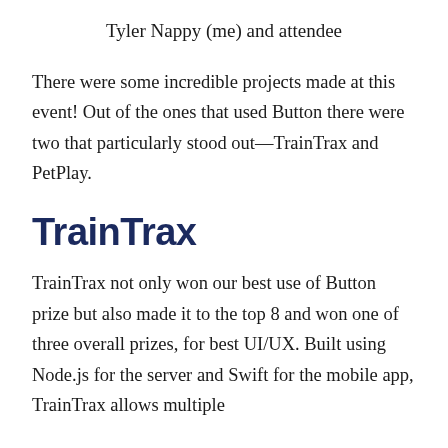Tyler Nappy (me) and attendee
There were some incredible projects made at this event! Out of the ones that used Button there were two that particularly stood out—TrainTrax and PetPlay.
TrainTrax
TrainTrax not only won our best use of Button prize but also made it to the top 8 and won one of three overall prizes, for best UI/UX. Built using Node.js for the server and Swift for the mobile app, TrainTrax allows multiple